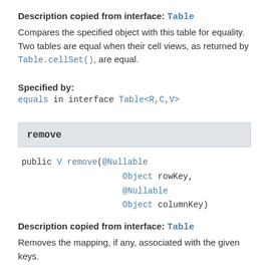Description copied from interface: Table
Compares the specified object with this table for equality. Two tables are equal when their cell views, as returned by Table.cellSet(), are equal.
Specified by:
equals in interface Table<R,C,V>
remove
public V remove(@Nullable Object rowKey, @Nullable Object columnKey)
Description copied from interface: Table
Removes the mapping, if any, associated with the given keys.
Specified by: